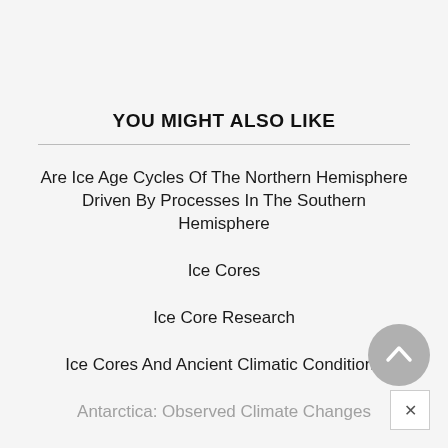YOU MIGHT ALSO LIKE
Are Ice Age Cycles Of The Northern Hemisphere Driven By Processes In The Southern Hemisphere
Ice Cores
Ice Core Research
Ice Cores And Ancient Climatic Conditions
Antarctica: Observed Climate Changes